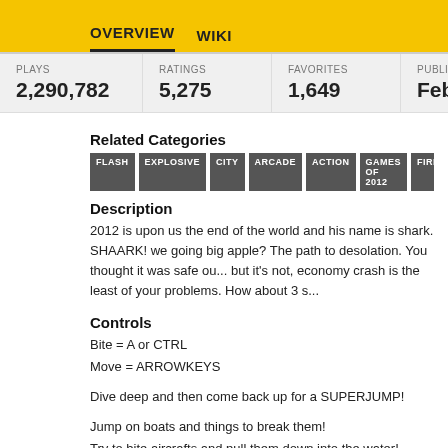OVERVIEW   WIKI
| PLAYS | RATINGS | FAVORITES | PUBLI... |
| --- | --- | --- | --- |
| 2,290,782 | 5,275 | 1,649 | Feb ... |
Related Categories
FLASH  EXPLOSIVE  CITY  ARCADE  ACTION  GAMES OF 2012  FIRE  BO...
Description
2012 is upon us the end of the world and his name is shark. SHAARK! we going big apple? The path to desolation. You thought it was safe ou... but it's not, economy crash is the least of your problems. How about 3 s...
Controls
Bite = A or CTRL
Move = ARROWKEYS
Dive deep and then come back up for a SUPERJUMP!
Jump on boats and things to break them!
Try to bite aircrafts and pull them down into the water!